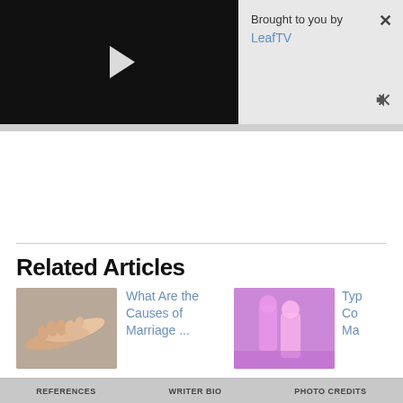[Figure (screenshot): Video player with black background and white play button triangle in center]
Brought to you by
LeafTV
[Figure (photo): Two hands exchanging a ring, gray background]
What Are the Causes of Marriage ...
[Figure (photo): Couple in pink/purple tinted photo]
Typ Con Ma
Related Articles
REFERENCES   WRITER BIO   PHOTO CREDITS